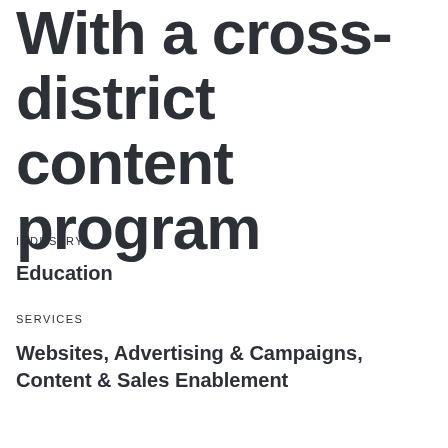With a cross-district content program
INDUSTRY
Education
SERVICES
Websites, Advertising & Campaigns, Content & Sales Enablement